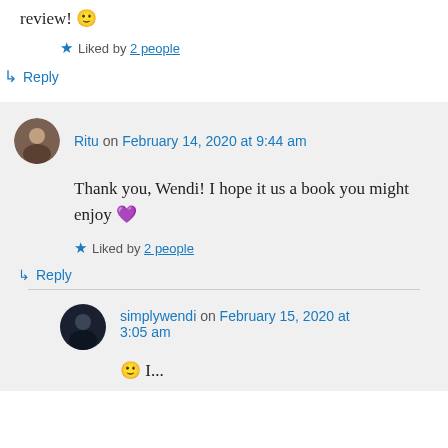review! 🙂
★ Liked by 2 people
↳ Reply
Ritu on February 14, 2020 at 9:44 am
Thank you, Wendi! I hope it us a book you might enjoy 💜
★ Liked by 2 people
↳ Reply
simplywendi on February 15, 2020 at 3:05 am
🙂 ...